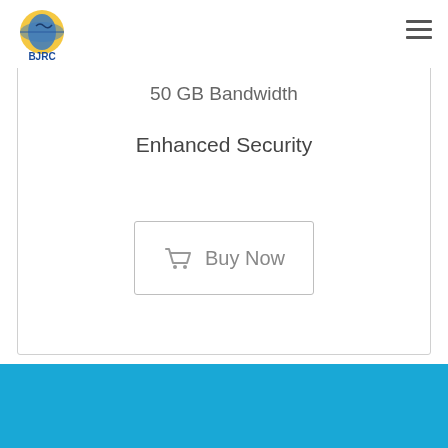[Figure (logo): BJRC logo with globe and text]
50 GB Bandwidth
Enhanced Security
Buy Now
[Figure (other): Blue footer bar]